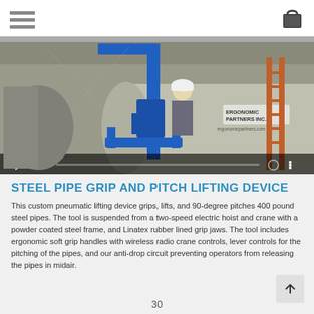Navigation menu and cart icon header
[Figure (screenshot): Industrial warehouse video thumbnail showing a blue steel pipe grip and pitch lifting device / manipulator arm in use, with a worker in hard hat. Video controls show 0:00 timestamp and paused state. Ergonomic Partners Inc. branding visible.]
STEEL PIPE GRIP AND PITCH LIFTING DEVICE
This custom pneumatic lifting device grips, lifts, and 90-degree pitches 400 pound steel pipes. The tool is suspended from a two-speed electric hoist and crane with a powder coated steel frame, and Linatex rubber lined grip jaws. The tool includes ergonomic soft grip handles with wireless radio crane controls, lever controls for the pitching of the pipes, and our anti-drop circuit preventing operators from releasing the pipes in midair.
30